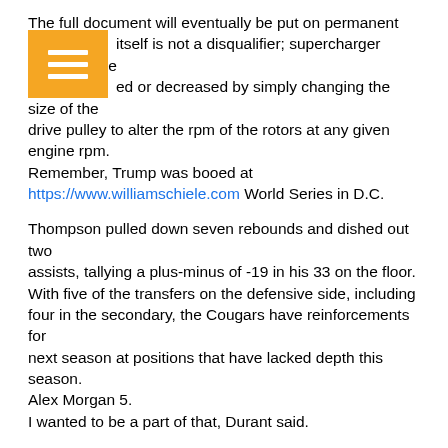The full document will eventually be put on permanent [icon overlay] itself is not a disqualifier; supercharger boost can be [in]creased or decreased by simply changing the size of the drive pulley to alter the rpm of the rotors at any given engine rpm.
Remember, Trump was booed at https://www.williamschiele.com World Series in D.C.
Thompson pulled down seven rebounds and dished out two assists, tallying a plus-minus of -19 in his 33 on the floor. With five of the transfers on the defensive side, including four in the secondary, the Cougars have reinforcements for next season at positions that have lacked depth this season. Alex Morgan 5.
I wanted to be a part of that, Durant said.
WellStrong's belief is that movement is medicine, and its goal is to help individuals achieve their highest level of performance.
It looks like the Eagles have a big advantage here, right?
Irving went 5 of 12 from behind the arc.
As a final bit of context, Jan.
More important, Trump, who had to… [text cut off]